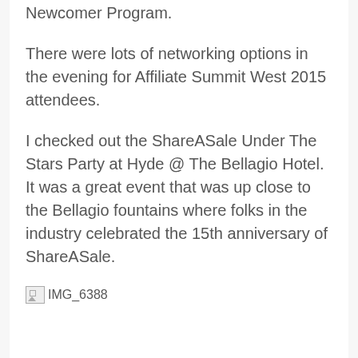Newcomer Program.
There were lots of networking options in the evening for Affiliate Summit West 2015 attendees.
I checked out the ShareASale Under The Stars Party at Hyde @ The Bellagio Hotel. It was a great event that was up close to the Bellagio fountains where folks in the industry celebrated the 15th anniversary of ShareASale.
[Figure (photo): Broken image placeholder labeled IMG_6388]